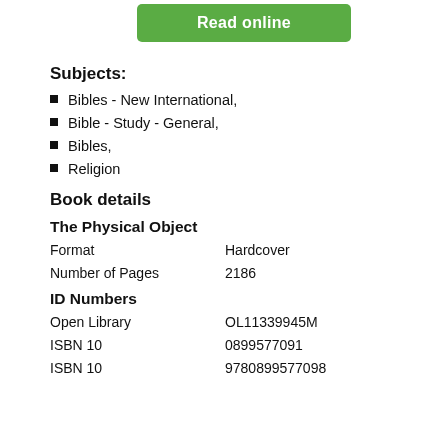[Figure (other): Green 'Read online' button]
Subjects:
Bibles - New International,
Bible - Study - General,
Bibles,
Religion
Book details
The Physical Object
| Format | Hardcover |
| Number of Pages | 2186 |
ID Numbers
| Open Library | OL11339945M |
| ISBN 10 | 0899577091 |
| ISBN 10 | 9780899577098 |